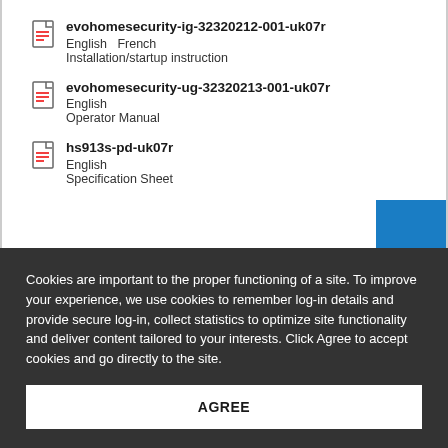evohomesecurity-ig-32320212-001-uk07r
English  French
Installation/startup instruction
evohomesecurity-ug-32320213-001-uk07r
English
Operator Manual
hs913s-pd-uk07r
English
Specification Sheet
Cookies are important to the proper functioning of a site. To improve your experience, we use cookies to remember log-in details and provide secure log-in, collect statistics to optimize site functionality and deliver content tailored to your interests. Click Agree to accept cookies and go directly to the site.
AGREE